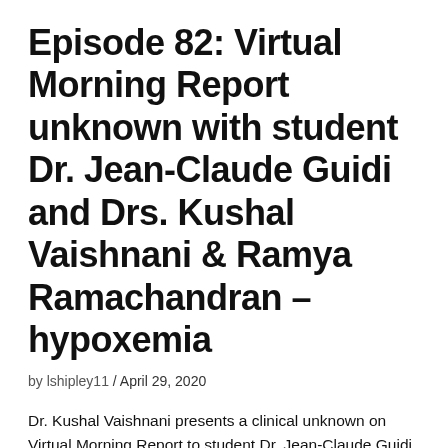Episode 82: Virtual Morning Report unknown with student Dr. Jean-Claude Guidi and Drs. Kushal Vaishnani & Ramya Ramachandran – hypoxemia
by lshipley11 / April 29, 2020
Dr. Kushal Vaishnani presents a clinical unknown on Virtual Morning Report to student Dr. Jean-Claude Guidi and Dr. Ramya Ramachandran. Case Overview